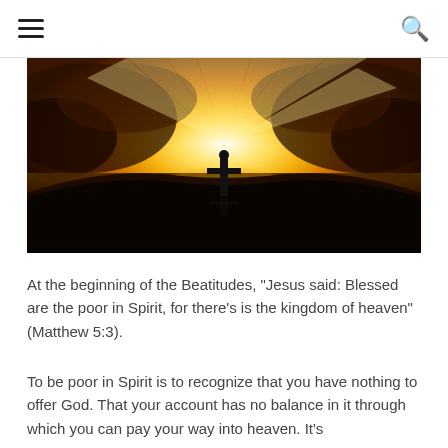☰ [menu] | [search]
[Figure (photo): Dramatic golden sunset with rays of light beaming through parting clouds, reflecting on water below, with a silhouette of a cross and figure in the center foreground.]
At the beginning of the Beatitudes, "Jesus said: Blessed are the poor in Spirit, for there's is the kingdom of heaven" (Matthew 5:3).
To be poor in Spirit is to recognize that you have nothing to offer God. That your account has no balance in it through which you can pay your way into heaven. It's